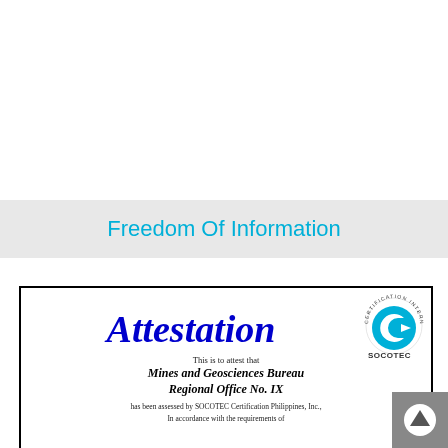Freedom Of Information
[Figure (screenshot): SOCOTEC Certification International logo with circular text and teal/cyan emblem]
Attestation
This is to attest that
Mines and Geosciences Bureau Regional Office No. IX
has been assessed by SOCOTEC Certification Philippines, Inc.,
In accordance with the requirements of